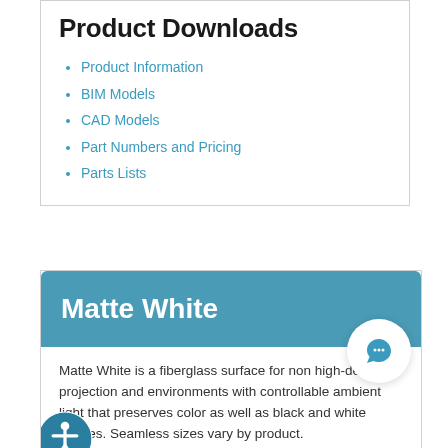Product Downloads
Product Information
BIM Models
CAD Models
Part Numbers and Pricing
Parts Lists
Matte White
Matte White is a fiberglass surface for non high-definition projection and environments with controllable ambient light that preserves color as well as black and white images. Seamless sizes vary by product.